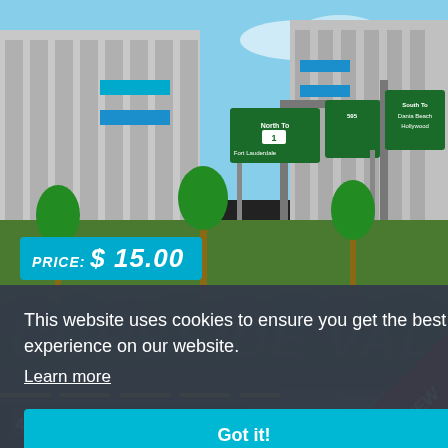[Figure (photo): Photograph of a large multi-story parking garage structure with highway directional signs in the foreground, palm trees, and blue sky. Signs indicate routes to Fort Lauderdale, Dania Beach, Hollywood.]
PRICE: $ 15.00
CURBSIDE VALET
This website uses cookies to ensure you get the best experience on our website.
Learn more
Got it!
[Figure (illustration): Red diagonal NEW badge in bottom-right corner]
4